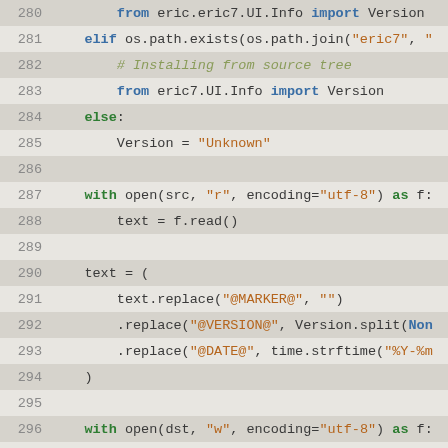Code listing lines 280-305, Python source code
280        from eric.eric7.UI.Info import Version
281    elif os.path.exists(os.path.join("eric7", "
282        # Installing from source tree
283        from eric7.UI.Info import Version
284    else:
285        Version = "Unknown"
286
287    with open(src, "r", encoding="utf-8") as f:
288        text = f.read()
289
290    text = (
291        text.replace("@MARKER@", "")
292        .replace("@VERSION@", Version.split(Non
293        .replace("@DATE@", time.strftime("%Y-%m
294    )
295
296    with open(dst, "w", encoding="utf-8") as f:
297        f.write(text)
298    os.chmod(dst, 0o644)
299
300
301 def wrapperNames(dname, wfile):
302    """
303    Create the platform specific names for the
304
305    @param dname name of the directory to place